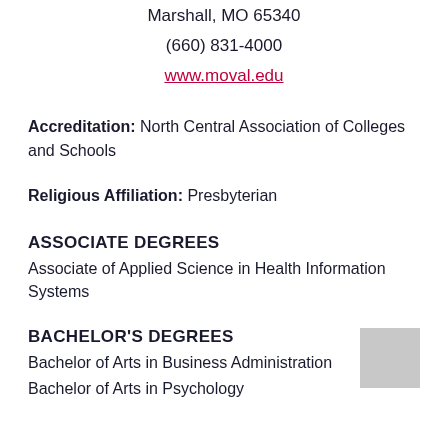Marshall, MO 65340
(660) 831-4000
www.moval.edu
Accreditation: North Central Association of Colleges and Schools
Religious Affiliation: Presbyterian
ASSOCIATE DEGREES
Associate of Applied Science in Health Information Systems
BACHELOR'S DEGREES
Bachelor of Arts in Business Administration
Bachelor of Arts in Psychology